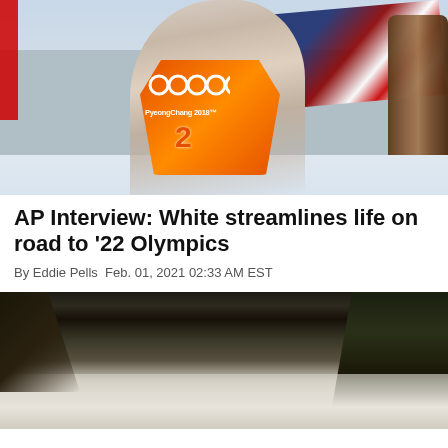[Figure (photo): Shaun White holding an American flag and snowboard, wearing an orange PyeongChang 2018 Olympics vest with bib number 2, celebrating at the 2018 Winter Olympics]
AP Interview: White streamlines life on road to '22 Olympics
By Eddie Pells Feb. 01, 2021 02:33 AM EST
[Figure (photo): Aerial or wide-angle view of a snowy mountain resort or ski area with pine trees and snow-covered terrain]